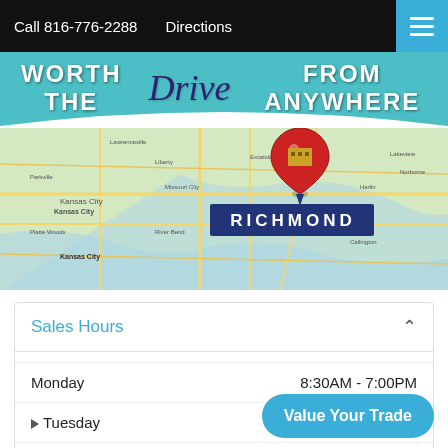Call 816-776-2288   Directions
[Figure (screenshot): Hero banner with teal background showing text WORTH THE Drive FROM ANYWHERE with a map of Kansas City / Richmond Missouri area with a red map pin over Richmond and a blue RICHMOND label]
Sales Hours
| Day | Hours |
| --- | --- |
| Monday | 8:30AM - 7:00PM |
| Tuesday | 8:30AM - ... |
| Wednesday | 8:30AM - 7:00PM |
Value Your Trade